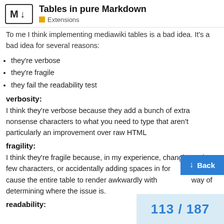Tables in pure Markdown
Extensions
To me I think implementing mediawiki tables is a bad idea. It's a bad idea for several reasons:
they're verbose
they're fragile
they fail the readability test
verbosity:
I think they're verbose because they add a bunch of extra nonsense characters to what you need to type that aren't particularly an improvement over raw HTML
fragility:
I think they're fragile because, in my experience, changing only a few characters, or accidentally adding spaces in for spaces cause the entire table to render awkwardly with no way of determining where the issue is.
readability: